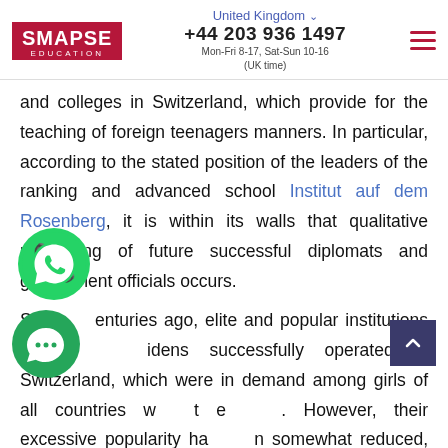SMAPSE EDUCATION | United Kingdom +44 203 936 1497 Mon-Fri 8-17, Sat-Sun 10-16 (UK time)
and colleges in Switzerland, which provide for the teaching of foreign teenagers manners. In particular, according to the stated position of the leaders of the ranking and advanced school Institut auf dem Rosenberg, it is within its walls that qualitative upbringing of future successful diplomats and government officials occurs.
Several centuries ago, elite and popular institutions of noble maidens successfully operated in Switzerland, which were in demand among girls of all countries without exception. However, their excessive popularity has been somewhat reduced, but such prestigious Swiss boarding schools continue to affect the upbringing of future...